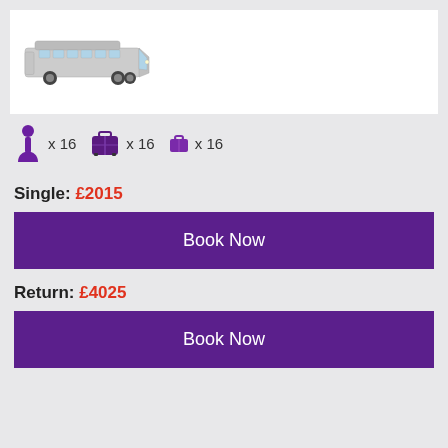[Figure (photo): White Mercedes Sprinter minivan/coach vehicle on white background]
x 16   x 16   x 16
Single: £2015
Book Now
Return: £4025
Book Now